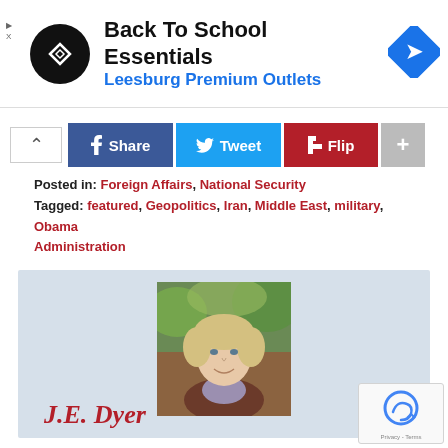[Figure (other): Advertisement banner: Back To School Essentials at Leesburg Premium Outlets with Google Maps icon]
[Figure (other): Social sharing buttons: Share (Facebook), Tweet (Twitter), Flip (Flipboard), and + button]
Posted in: Foreign Affairs, National Security
Tagged: featured, Geopolitics, Iran, Middle East, military, Obama Administration
[Figure (photo): Author photo of J.E. Dyer — a woman with short blonde hair, smiling, outdoors]
J.E. Dyer